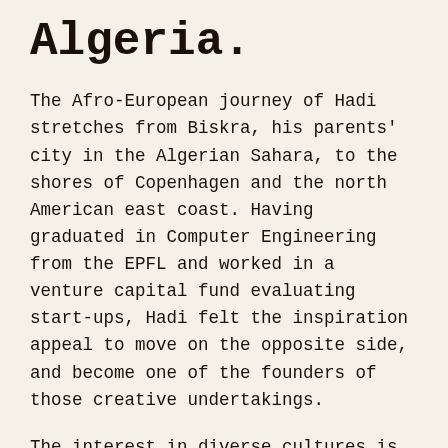Algeria.
The Afro-European journey of Hadi stretches from Biskra, his parents' city in the Algerian Sahara, to the shores of Copenhagen and the north American east coast. Having graduated in Computer Engineering from the EPFL and worked in a venture capital fund evaluating start-ups, Hadi felt the inspiration appeal to move on the opposite side, and become one of the founders of those creative undertakings.
The interest in diverse cultures is a constant in Hadi's work. Exploring the colors and the says of Switzerland in his books “Entre Rouge et Blanc” and “Contre-sagesses Suisses”, or developing games to learn 50 words in the 4 Swiss national